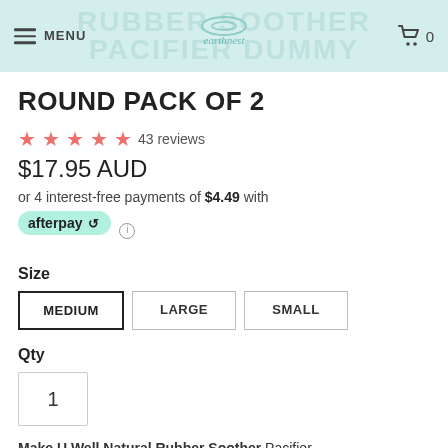RUBBER SOOTHER / PACIFIER DUMMY — earthnest — MENU / Cart 0
ROUND PACK OF 2
43 reviews
$17.95 AUD
or 4 interest-free payments of $4.49 with afterpay
Size
MEDIUM LARGE SMALL
Qty
1
Make U Well Natural Rubber Soother Pacifier